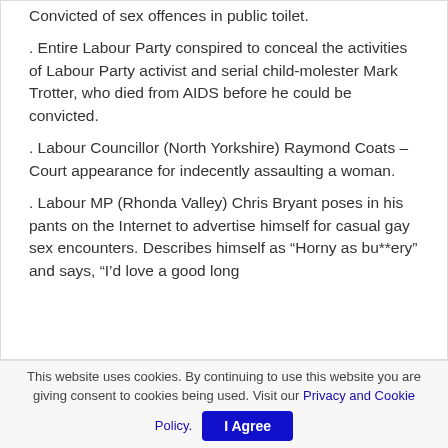Convicted of sex offences in public toilet.
. Entire Labour Party conspired to conceal the activities of Labour Party activist and serial child-molester Mark Trotter, who died from AIDS before he could be convicted.
. Labour Councillor (North Yorkshire) Raymond Coats – Court appearance for indecently assaulting a woman.
. Labour MP (Rhonda Valley) Chris Bryant poses in his pants on the Internet to advertise himself for casual gay sex encounters. Describes himself as “Horny as bu**ery” and says, “I’d love a good long
This website uses cookies. By continuing to use this website you are giving consent to cookies being used. Visit our Privacy and Cookie Policy.
I Agree